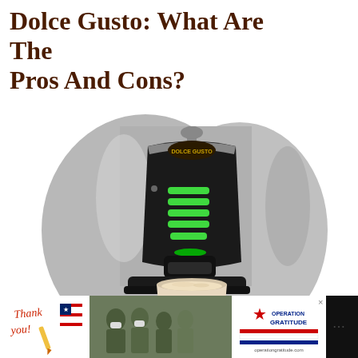Dolce Gusto: What Are The Pros And Cons?
[Figure (photo): A Dolce Gusto silver and black capsule coffee machine with green LED indicators on its front panel, dispensing a latte or cappuccino into a white cup below.]
[Figure (photo): Advertisement banner at the bottom: 'Thank you!' handwritten text with a US flag design on the left, soldiers in military gear in the center, and Operation Gratitude logo on the right, against a dark background.]